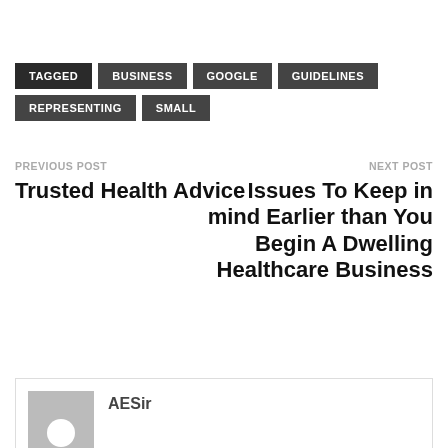TAGGED BUSINESS GOOGLE GUIDELINES REPRESENTING SMALL
PREVIOUS POST
Trusted Health Advice
NEXT POST
Issues To Keep in mind Earlier than You Begin A Dwelling Healthcare Business
AESir